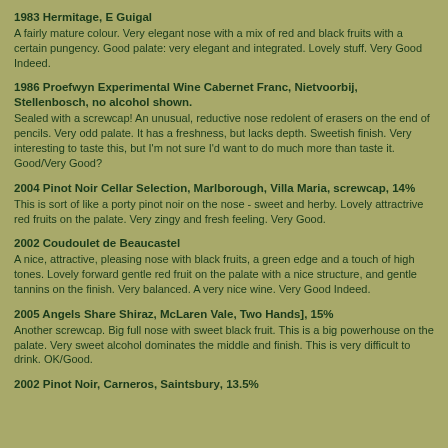1983 Hermitage, E Guigal
A fairly mature colour. Very elegant nose with a mix of red and black fruits with a certain pungency. Good palate: very elegant and integrated. Lovely stuff. Very Good Indeed.
1986 Proefwyn Experimental Wine Cabernet Franc, Nietvoorbij, Stellenbosch, no alcohol shown.
Sealed with a screwcap! An unusual, reductive nose redolent of erasers on the end of pencils. Very odd palate. It has a freshness, but lacks depth. Sweetish finish. Very interesting to taste this, but I'm not sure I'd want to do much more than taste it. Good/Very Good?
2004 Pinot Noir Cellar Selection, Marlborough, Villa Maria, screwcap, 14%
This is sort of like a porty pinot noir on the nose - sweet and herby. Lovely attractrive red fruits on the palate. Very zingy and fresh feeling. Very Good.
2002 Coudoulet de Beaucastel
A nice, attractive, pleasing nose with black fruits, a green edge and a touch of high tones. Lovely forward gentle red fruit on the palate with a nice structure, and gentle tannins on the finish. Very balanced. A very nice wine. Very Good Indeed.
2005 Angels Share Shiraz, McLaren Vale, Two Hands], 15%
Another screwcap. Big full nose with sweet black fruit. This is a big powerhouse on the palate. Very sweet alcohol dominates the middle and finish. This is very difficult to drink. OK/Good.
2002 Pinot Noir, Carneros, Saintsbury, 13.5%